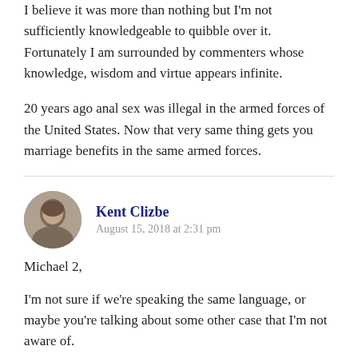I believe it was more than nothing but I'm not sufficiently knowledgeable to quibble over it. Fortunately I am surrounded by commenters whose knowledge, wisdom and virtue appears infinite.
20 years ago anal sex was illegal in the armed forces of the United States. Now that very same thing gets you marriage benefits in the same armed forces.
Kent Clizbe
August 15, 2018 at 2:31 pm
Michael 2,
I'm not sure if we're speaking the same language, or maybe you're talking about some other case that I'm not aware of.
Just to clarify, Briggs' article was about (although it is not explicitly mentioned) the recent revelations that the Pennsylvania Catholic church was, in effect, a child sex